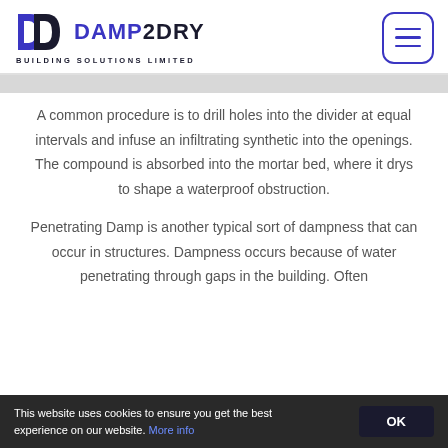[Figure (logo): Damp2Dry Building Solutions Limited logo with DD monogram icon and company name]
A common procedure is to drill holes into the divider at equal intervals and infuse an infiltrating synthetic into the openings. The compound is absorbed into the mortar bed, where it drys to shape a waterproof obstruction.
Penetrating Damp is another typical sort of dampness that can occur in structures. Dampness occurs because of water penetrating through gaps in the building. Often
This website uses cookies to ensure you get the best experience on our website. More info
OK